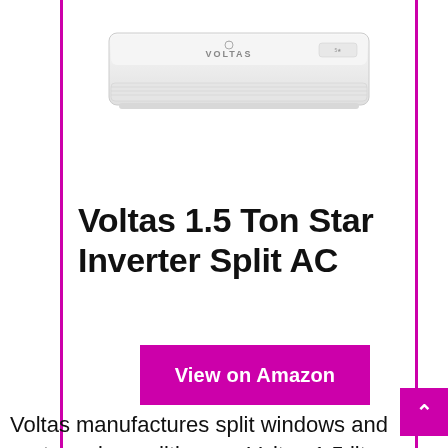[Figure (photo): Voltas split air conditioner unit, white, wall-mounted, shown from front view with VOLTAS branding visible on the unit body.]
Voltas 1.5 Ton Star Inverter Split AC
View on Amazon
Voltas manufactures split windows and system air conditioners. Voltas 1.5 liters split